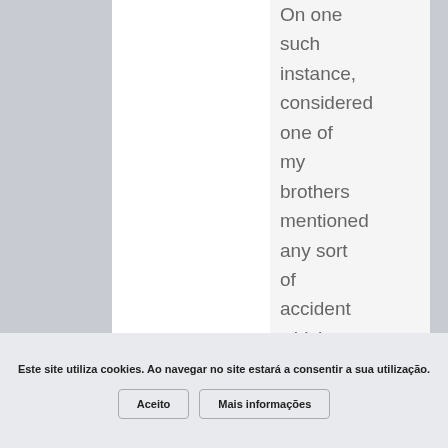On one such instance, considered one of my brothers mentioned any sort of accident which had occurred within my mother's
Este site utiliza cookies. Ao navegar no site estará a consentir a sua utilização.